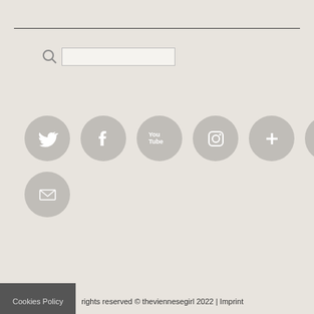[Figure (other): Horizontal divider line near top of page]
[Figure (other): Search bar with magnifying glass icon and input field]
[Figure (other): Social media icon buttons: Twitter, Facebook, YouTube, Instagram, Google+, Pinterest, and Email — circular grey buttons with white icons]
Cookies Policy  rights reserved © theviennesegirl 2022 | Imprint